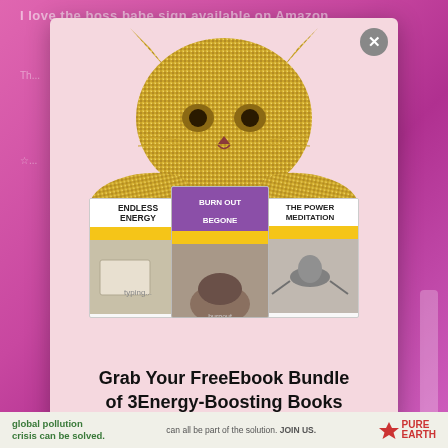[Figure (screenshot): Popup modal overlay on a pink/purple gradient background. The modal has a light pink background with a gold glitter cat illustration holding three book covers: 'Endless Energy', 'Burn Out Begone', and 'The Power Meditation'. Below the books is text promoting a free ebook bundle.]
Grab Your Free Ebook Bundle of 3 Energy-Boosting Books
global pollution crisis can be solved. | can all be part of the solution. JOIN US. | PURE EARTH